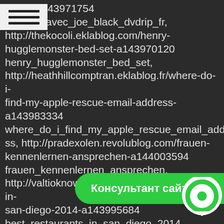drip-fr-a143971754 ncontre_avec_joe_black_dvdrip_fr, http://thekocoli.eklablog.com/henry-hugglemonster-bed-set-a143970120 henry_hugglemonster_bed_set, http://heathhillcomptran.eklablog.fr/where-do-i-find-my-apple-rescue-email-address-a143983334 where_do_i_find_my_apple_rescue_email_address, http://pradexolen.revolublog.com/frauen-kennenlernen-ansprechen-a144003594 frauen_kennenlernen_ansprechen, http://valtioknowfans.ek.la/best-restaurants-in-san-diego-2014-a143995684 best_restaurants_in_san_diego_2014, http://wirkmomeni.lo.gs/best-free-online-dating-sites-in-australia-a144000144 best_free_online_dating_sites_in_australia, http://pradexolen.revolublog.com/baixar-blond-apk-a144007750 baixa... http://permanobi.eklablog.com/where-to-take-a-girl-out-in-los-angeles-a144014800
[Figure (other): Green chat widget bar with Cyrillic text 'Консультант сайта' and a circular chat icon on the right, overlaid at the bottom of the page.]